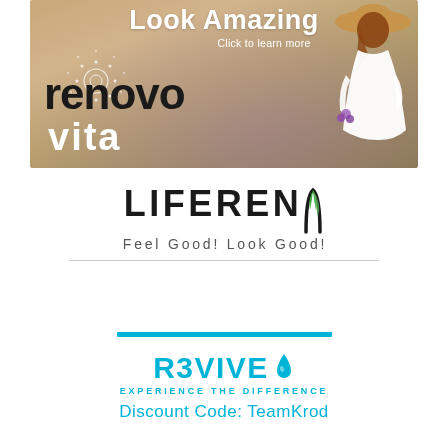[Figure (illustration): Renovo Vita advertisement banner showing a woman in a white dress in a flower field with text 'Look Amazing', 'Click to learn more', 'renovo vita']
[Figure (logo): LIFERENU logo with green leaf accent and tagline 'Feel Good! Look Good!']
[Figure (logo): REVIVE water drop logo with 'EXPERIENCE THE DIFFERENCE' tagline, cyan/blue color, with horizontal bar above]
Discount Code: TeamKrod